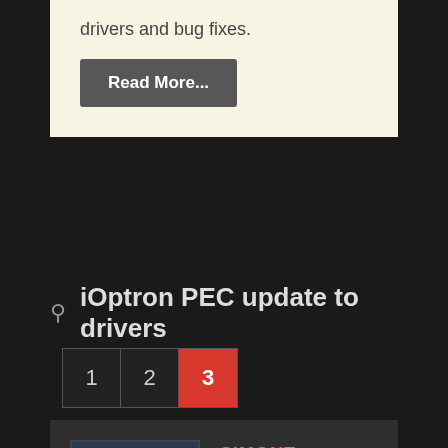drivers and bug fixes.
Read More...
iOptron PEC update to drivers
1
2
3
SIMONT
Offline
Senior Member
[Figure (illustration): User avatar: cartoon person with orange/red hair on dark blue background]
☆☆★☆☆ (star rating, 2.5 of 5)